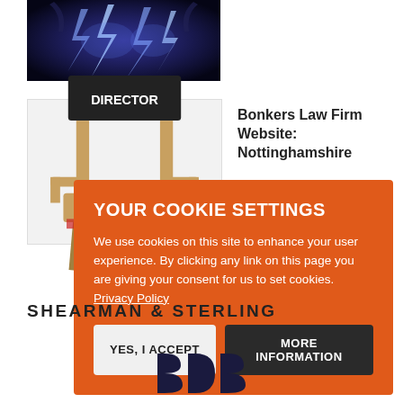[Figure (photo): Lightning/electric energy image with blue tones]
[Figure (photo): Director's chair with DIRECTOR label on back]
Bonkers Law Firm Website: Nottinghamshire
YOUR COOKIE SETTINGS

We use cookies on this site to enhance your user experience. By clicking any link on this page you are giving your consent for us to set cookies. Privacy Policy

YES, I ACCEPT    MORE INFORMATION
SHEARMAN & STERLING
[Figure (logo): BDB logo mark in dark navy blue]